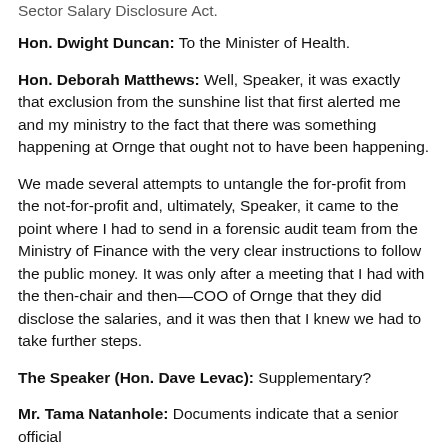Sector Salary Disclosure Act.
Hon. Dwight Duncan: To the Minister of Health.
Hon. Deborah Matthews: Well, Speaker, it was exactly that exclusion from the sunshine list that first alerted me and my ministry to the fact that there was something happening at Ornge that ought not to have been happening.
We made several attempts to untangle the for-profit from the not-for-profit and, ultimately, Speaker, it came to the point where I had to send in a forensic audit team from the Ministry of Finance with the very clear instructions to follow the public money. It was only after a meeting that I had with the then-chair and then—COO of Ornge that they did disclose the salaries, and it was then that I knew we had to take further steps.
The Speaker (Hon. Dave Levac): Supplementary?
Mr. Tama Natanhole: Documents indicate that a senior official